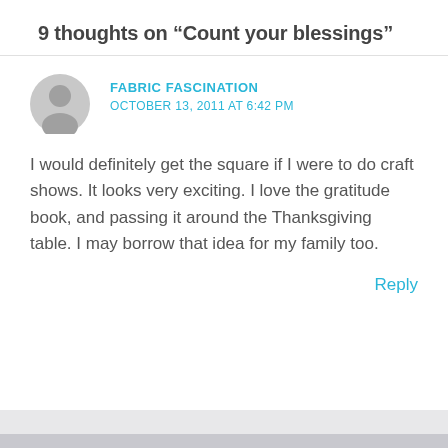9 thoughts on “Count your blessings”
FABRIC FASCINATION
OCTOBER 13, 2011 AT 6:42 PM
I would definitely get the square if I were to do craft shows. It looks very exciting. I love the gratitude book, and passing it around the Thanksgiving table. I may borrow that idea for my family too.
Reply